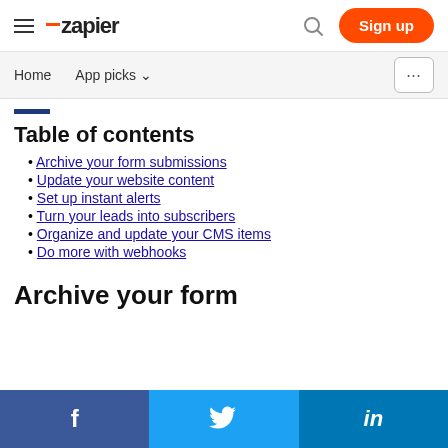Zapier — Sign up navigation header
Home | App picks | ...
Table of contents
Archive your form submissions
Update your website content
Set up instant alerts
Turn your leads into subscribers
Organize and update your CMS items
Do more with webhooks
Archive your form
f   Twitter   in